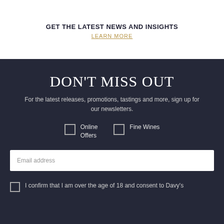GET THE LATEST NEWS AND INSIGHTS
LEARN MORE
DON'T MISS OUT
For the latest releases, promotions, tastings and more, sign up for our newsletters.
Online Offers
Fine Wines
Email address
I confirm that I am over the age of 18 and consent to Davy's